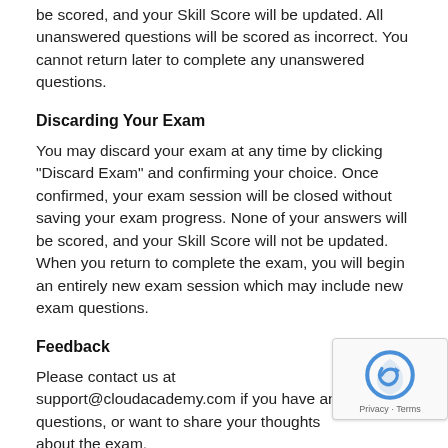be scored, and your Skill Score will be updated. All unanswered questions will be scored as incorrect. You cannot return later to complete any unanswered questions.
Discarding Your Exam
You may discard your exam at any time by clicking "Discard Exam" and confirming your choice. Once confirmed, your exam session will be closed without saving your exam progress. None of your answers will be scored, and your Skill Score will not be updated. When you return to complete the exam, you will begin an entirely new exam session which may include new exam questions.
Feedback
Please contact us at support@cloudacademy.com if you have any questions, or want to share your thoughts about the exam.